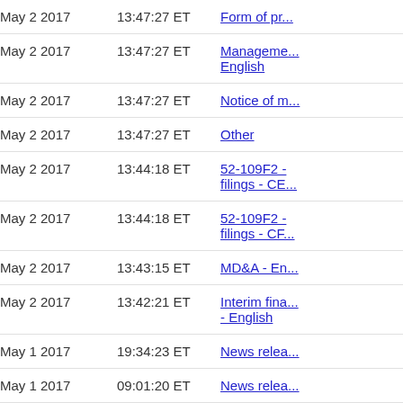| Date | Time | Document |
| --- | --- | --- |
| May 2 2017 | 13:47:27 ET | Form of pr... |
| May 2 2017 | 13:47:27 ET | Manageme... English |
| May 2 2017 | 13:47:27 ET | Notice of m... |
| May 2 2017 | 13:47:27 ET | Other |
| May 2 2017 | 13:44:18 ET | 52-109F2 - filings - CE... |
| May 2 2017 | 13:44:18 ET | 52-109F2 - filings - CF... |
| May 2 2017 | 13:43:15 ET | MD&A - En... |
| May 2 2017 | 13:42:21 ET | Interim fina... - English |
| May 1 2017 | 19:34:23 ET | News relea... |
| May 1 2017 | 09:01:20 ET | News relea... |
| Apr 28 2017 | 08:23:49 ET | News relea... |
| Apr 26 2017 | 17:16:40 ET | News relea... |